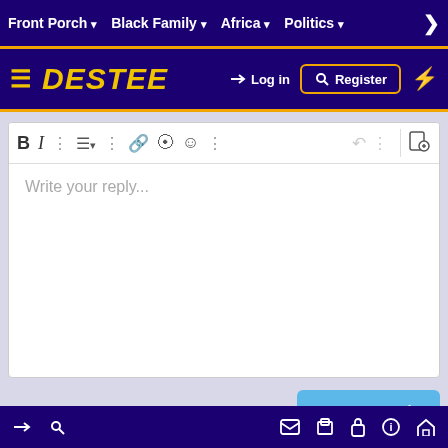Front Porch ▾   Black Family ▾   Africa ▾   Politics ▾   >
[Figure (screenshot): DESTEE website header with logo, hamburger menu, Log in and Register buttons]
[Figure (screenshot): Rich text editor toolbar with bold, italic, list, link, image, emoji icons and Write your reply... placeholder]
[Figure (screenshot): Post reply button (blue)]
This site uses cookies to help personalize content, tailor your experience and to keep you logged in if you register. By continuing to use this site, you are consenting to our use of cookies.
[Figure (screenshot): Accept and Learn more... buttons in cookie banner]
Footer bar with login, key, mail, document, lock, info, home icons